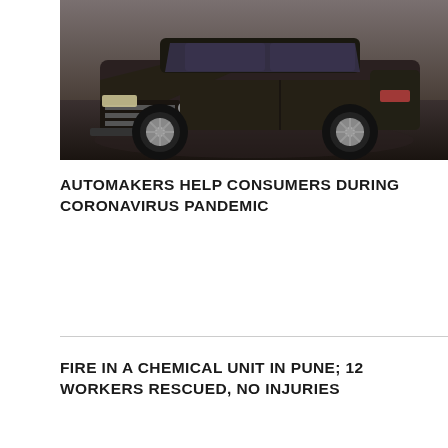[Figure (photo): Front view of a dark colored pickup truck (SUV/truck) photographed from a low angle on a paved surface]
AUTOMAKERS HELP CONSUMERS DURING CORONAVIRUS PANDEMIC
FIRE IN A CHEMICAL UNIT IN PUNE; 12 WORKERS RESCUED, NO INJURIES
[Figure (photo): Rugby league players mid-game, players in blue and yellow jerseys competing, one player carrying a ball while being tackled, KIA advertising boards visible in background, teal circular button overlay in bottom right]